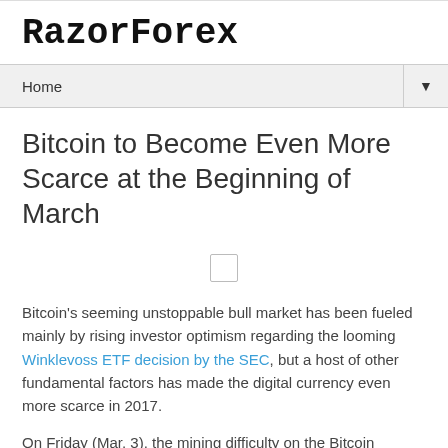RazorForex
Home
Bitcoin to Become Even More Scarce at the Beginning of March
[Figure (other): Small image placeholder icon (broken/loading image box)]
Bitcoin's seeming unstoppable bull market has been fueled mainly by rising investor optimism regarding the looming Winklevoss ETF decision by the SEC, but a host of other fundamental factors has made the digital currency even more scarce in 2017.
On Friday (Mar. 3), the mining difficulty on the Bitcoin network is set to make its 10th consecutive increase since November 5, 2016. Blockchain statistics portal